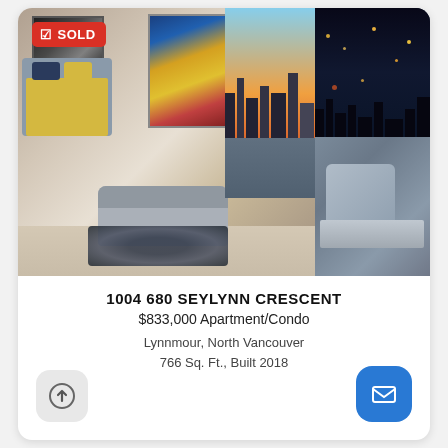[Figure (photo): Interior photo of a modern apartment/condo with a living area featuring a gray sofa, abstract portrait wall art, yellow-bedded sleeping area to the left, and a large window with city skyline view at sunset. A wall-mounted TV showing city at night is visible on the right panel. A red SOLD badge is overlaid on the top-left of the photo.]
1004 680 SEYLYNN CRESCENT
$833,000 Apartment/Condo
Lynnmour, North Vancouver
766 Sq. Ft., Built 2018